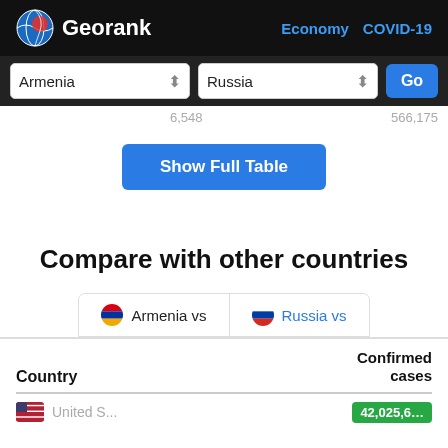Georank | Economy | COVID-19
[Figure (screenshot): Georank website header with globe logo, navigation links Economy and COVID-19, and country selector dropdowns for Armenia and Russia with a Go button]
[Figure (screenshot): Show Full Table button in blue]
Compare with other countries
[Figure (screenshot): Tab selector showing Armenia vs and Russia vs tabs]
| Country | Confirmed cases |
| --- | --- |